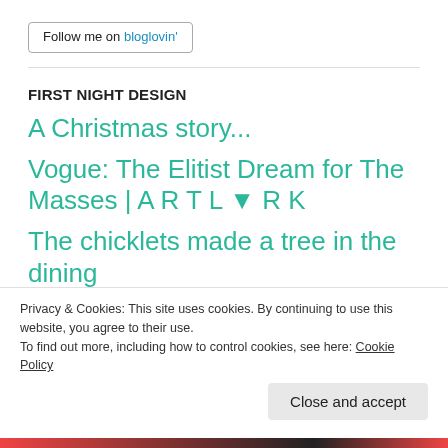[Figure (other): Follow me on bloglovin' button with border]
FIRST NIGHT DESIGN
A Christmas story...
Vogue: The Elitist Dream for The Masses | A R T L ▼ R K
The chicklets made a tree in the dining
Privacy & Cookies: This site uses cookies. By continuing to use this website, you agree to their use.
To find out more, including how to control cookies, see here: Cookie Policy
Close and accept